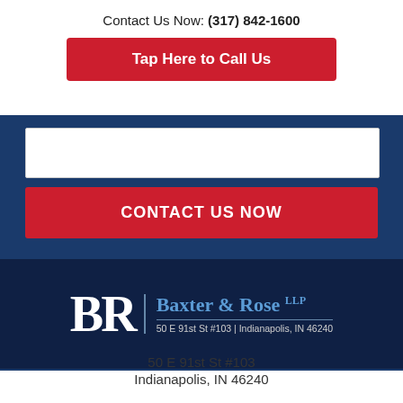Contact Us Now: (317) 842-1600
Tap Here to Call Us
CONTACT US NOW
[Figure (logo): Baxter & Rose LLP law firm logo with BR initials and address: 50 E 91st St #103 | Indianapolis, IN 46240]
50 E 91st St #103
Indianapolis, IN 46240